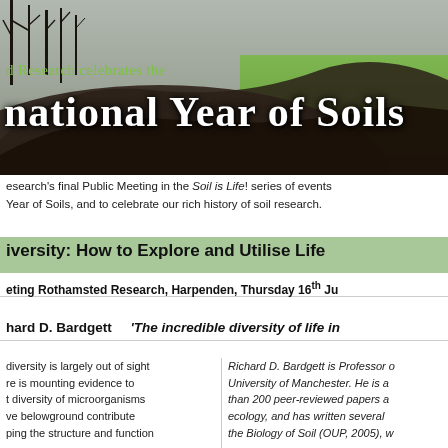[Figure (photo): Landscape photo showing bare dark soil/earth mound in foreground with bare winter trees silhouetted against sky, and green field in background]
d Research celebrates the
national Year of Soils
esearch's final Public Meeting in the Soil is Life! series of events Year of Soils, and to celebrate our rich history of soil research.
iversity: How to Explore and Utilise Life
eting Rothamsted Research, Harpenden, Thursday 16th Ju
hard D. Bardgett     'The incredible diversity of life in
diversity is largely out of sight re is mounting evidence to t diversity of microorganisms ve belowground contribute ping the structure and function
Richard D. Bardgett is Professor o University of Manchester. He is a than 200 peer-reviewed papers a ecology, and has written several the Biology of Soil (OUP, 2005), w